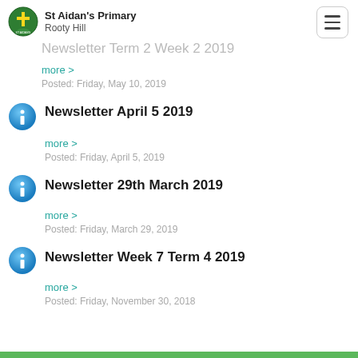St Aidan's Primary Rooty Hill
Newsletter Term 2 Week 2 2019
more >
Posted: Friday, May 10, 2019
Newsletter April 5 2019
more >
Posted: Friday, April 5, 2019
Newsletter 29th March 2019
more >
Posted: Friday, March 29, 2019
Newsletter Week 7 Term 4 2019
more >
Posted: Friday, November 30, 2018